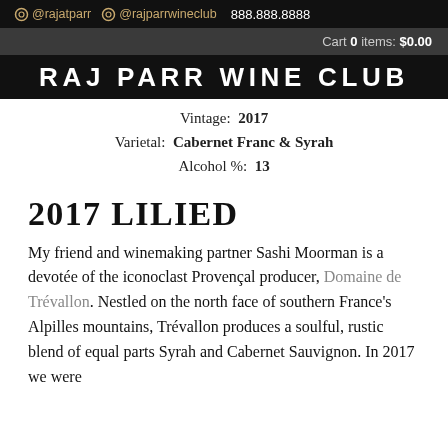@rajatparr  @rajparrwineclub  888.888.8888
Cart 0 items: $0.00
RAJ PARR WINE CLUB
Vintage:  2017
Varietal:  Cabernet Franc & Syrah
Alcohol %:  13
2017 LILIED
My friend and winemaking partner Sashi Moorman is a devotée of the iconoclast Provençal producer, Domaine de Trévallon. Nestled on the north face of southern France's Alpilles mountains, Trévallon produces a soulful, rustic blend of equal parts Syrah and Cabernet Sauvignon. In 2017 we were